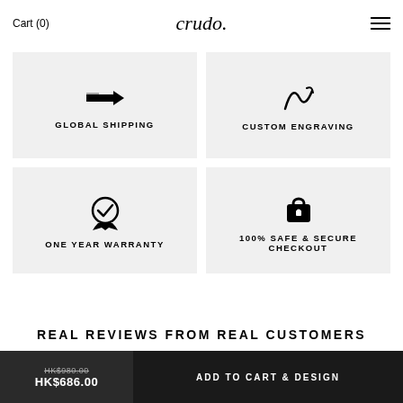Cart (0)   crudo.   ☰
[Figure (infographic): Four feature boxes in a 2x2 grid: Global Shipping (plane icon), Custom Engraving (pen icon), One Year Warranty (medal/check icon), 100% Safe & Secure Checkout (lock icon)]
REAL REVIEWS FROM REAL CUSTOMERS
HK$980.00  HK$686.00   ADD TO CART & DESIGN